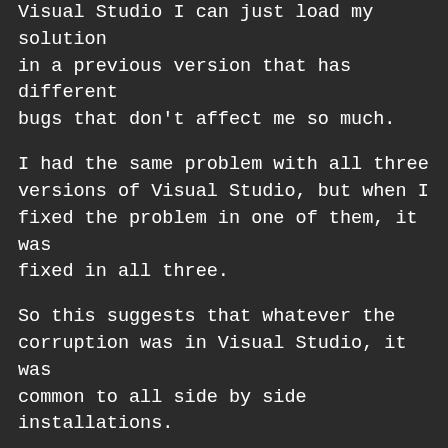Visual Studio I can just load my solution in a previous version that has different bugs that don't affect me so much.
I had the same problem with all three versions of Visual Studio, but when I fixed the problem in one of them, it was fixed in all three.
So this suggests that whatever the corruption was in Visual Studio, it was common to all side by side installations.
Some say there is a folder in your Windows user profile that serves as a shadow cache for the XAML Designer. Some say that this folder can become corrupted. I have to say I am inclined to believe them. But armed with the power to kill the XAML Designer